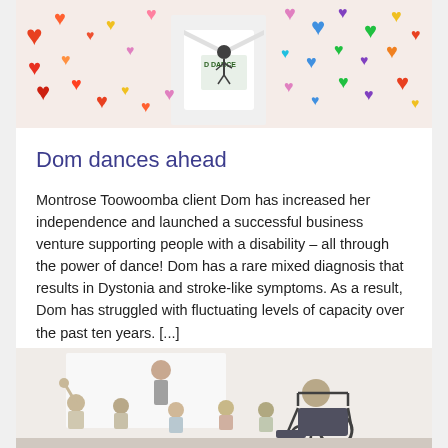[Figure (photo): Photo showing a person in a white t-shirt with 'D Dance' logo, surrounded by colorful heart decorations on a white background.]
Dom dances ahead
Montrose Toowoomba client Dom has increased her independence and launched a successful business venture supporting people with a disability – all through the power of dance! Dom has a rare mixed diagnosis that results in Dystonia and stroke-like symptoms. As a result, Dom has struggled with fluctuating levels of capacity over the past ten years. [...]
Read more
[Figure (photo): Photo of a classroom or meeting scene showing children seated, one in a wheelchair, facing a presenter at the front of the room.]